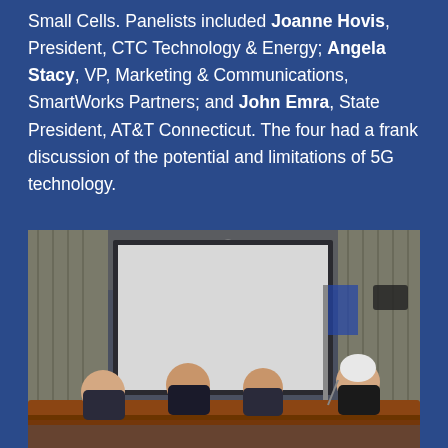Small Cells. Panelists included Joanne Hovis, President, CTC Technology & Energy; Angela Stacy, VP, Marketing & Communications, SmartWorks Partners; and John Emra, State President, AT&T Connecticut. The four had a frank discussion of the potential and limitations of 5G technology.
[Figure (photo): Panel discussion photo showing four panelists seated at a curved wooden desk in a formal hearing room. A large projection screen is visible in the background. Three men are on the left side and a woman with white/gray hair is on the right.]